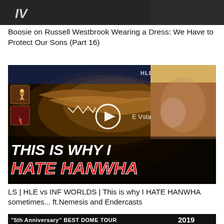[Figure (screenshot): Partial video thumbnail showing TV text on dark background]
Boosie on Russell Westbrook Wearing a Dress: We Have to Protect Our Sons (Part 16)
[Figure (screenshot): YouTube video thumbnail showing a dragon with text 'THIS IS WHY I HATE HANWHA' and a crying/laughing person on the right side, with game icons on left and a play button in center]
LS | HLE vs INF WORLDS | This is why I HATE HANWHA sometimes... ft.Nemesis and Endercasts
[Figure (screenshot): Partial thumbnail showing '"5th Anniversary" BEST DOME TOUR 2019' text on dark background]